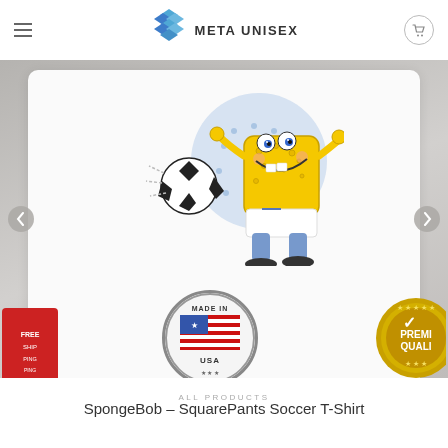META UNISEX
[Figure (photo): White t-shirt with SpongeBob SquarePants playing soccer graphic on chest, displayed against gray background. Badges in the lower corners: 'Made in USA' flag badge, a shipping badge on the left, and a 'Premium Quality' gold badge on the right.]
ALL PRODUCTS
SpongeBob – SquarePants Soccer T-Shirt